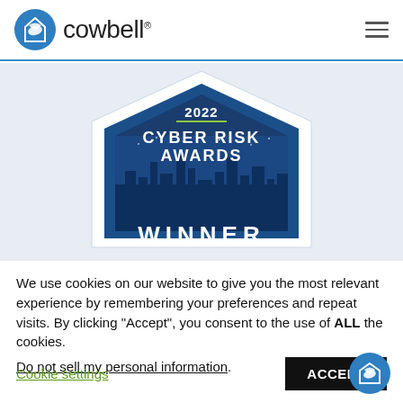[Figure (logo): Cowbell logo: blue circle with white paper/bell icon, followed by the text 'cowbell' with registered trademark symbol]
[Figure (illustration): 2022 Cyber Risk Awards Winner badge: dark blue shield/house shape with city skyline silhouette, text '2022 CYBER RISK AWARDS' and 'WINNER' at bottom]
We use cookies on our website to give you the most relevant experience by remembering your preferences and repeat visits. By clicking “Accept”, you consent to the use of ALL the cookies.
Do not sell my personal information.
Cookie settings
ACCEPT